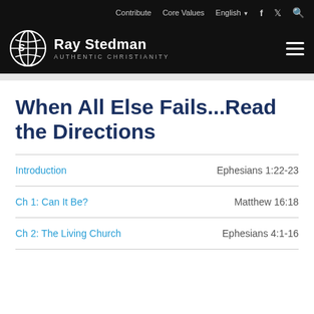Contribute | Core Values | English | f | tw | search
[Figure (logo): Ray Stedman Authentic Christianity logo with globe icon and hamburger menu]
When All Else Fails...Read the Directions
Introduction — Ephesians 1:22-23
Ch 1: Can It Be? — Matthew 16:18
Ch 2: The Living Church — Ephesians 4:1-16